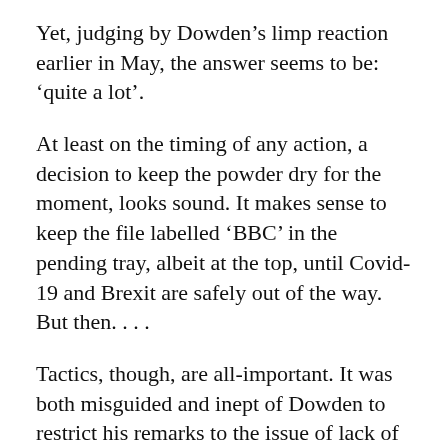Yet, judging by Dowden’s limp reaction earlier in May, the answer seems to be: ‘quite a lot’.
At least on the timing of any action, a decision to keep the powder dry for the moment, looks sound. It makes sense to keep the file labelled ‘BBC’ in the pending tray, albeit at the top, until Covid-19 and Brexit are safely out of the way. But then. . . .
Tactics, though, are all-important. It was both misguided and inept of Dowden to restrict his remarks to the issue of lack of impartiality; the ‘bias’ allegation is inherently subjective, and the Corporation has a range of strategies for deflecting and smothering it, including enticing its critics into an endless ‘he said, we said’ squabble, which ultimately gets nowhere. For the Government to try to upbraid the BBC for